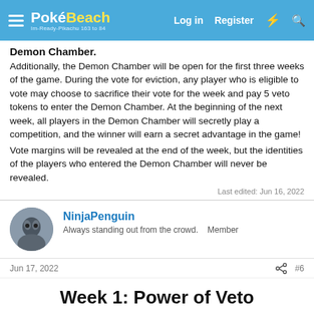PokéBeach — Log in | Register
Demon Chamber:
Additionally, the Demon Chamber will be open for the first three weeks of the game. During the vote for eviction, any player who is eligible to vote may choose to sacrifice their vote for the week and pay 5 veto tokens to enter the Demon Chamber. At the beginning of the next week, all players in the Demon Chamber will secretly play a competition, and the winner will earn a secret advantage in the game!
Vote margins will be revealed at the end of the week, but the identities of the players who entered the Demon Chamber will never be revealed.
Last edited: Jun 16, 2022
NinjaPenguin — Always standing out from the crowd.    Member
Jun 17, 2022   #6
Week 1: Power of Veto